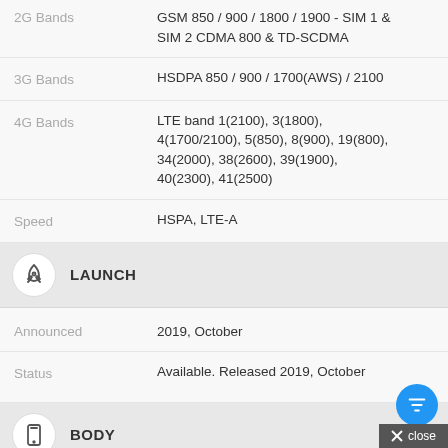| Spec | Value |
| --- | --- |
| 2G Bands | GSM 850 / 900 / 1800 / 1900 - SIM 1 & SIM 2 CDMA 800 & TD-SCDMA |
| 3G Bands | HSDPA 850 / 900 / 1700(AWS) / 2100 |
| 4G Bands | LTE band 1(2100), 3(1800), 4(1700/2100), 5(850), 8(900), 19(800), 34(2000), 38(2600), 39(1900), 40(2300), 41(2500) |
| Speed | HSPA, LTE-A |
LAUNCH
| Spec | Value |
| --- | --- |
| Announced | 2019, October |
| Status | Available. Released 2019, October |
BODY
| Spec | Value |
| --- | --- |
| Dimensions | 159.5 x 75.2 x 8.1 mm (6.28 x 2.96 x |